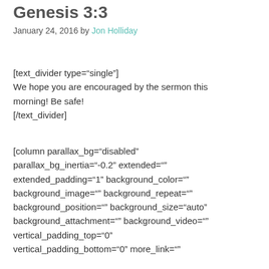Genesis 3:3
January 24, 2016 by Jon Holliday
[text_divider type="single"]
We hope you are encouraged by the sermon this morning! Be safe!
[/text_divider]
[column parallax_bg="disabled" parallax_bg_inertia="-0.2" extended="" extended_padding="1" background_color="" background_image="" background_repeat="" background_position="" background_size="auto" background_attachment="" background_video="" vertical_padding_top="0" vertical_padding_bottom="0" more_link=""